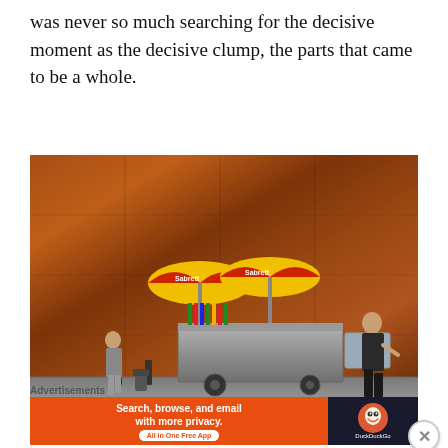was never so much searching for the decisive moment as the decisive clump, the parts that came to be a whole.
[Figure (photo): Street food vendor cart with two yellow and red umbrellas (Sabrett branding) parked against a large rust-colored Cor-ten steel wall. A woman walks on the left side and a man in dark clothes walks on the right side of the cart.]
Advertisements
[Figure (screenshot): DuckDuckGo advertisement banner: orange left panel reads 'Search, browse, and email with more privacy. All in One Free App', dark right panel shows DuckDuckGo duck logo and name.]